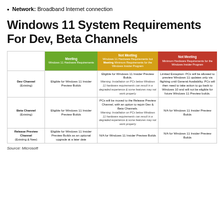Network: Broadband Internet connection
Windows 11 System Requirements For Dev, Beta Channels
|  | Meeting Windows 11 Hardware Requirements | Not Meeting Windows 11 Hardware Requirements but Meeting Minimum Requirements for the Windows Insider Program | Not Meeting Minimum Hardware Requirements for the Windows Insider Program |
| --- | --- | --- | --- |
| Dev Channel (Existing) | Eligible for Windows 11 Insider Preview Builds | Eligible for Windows 11 Insider Preview Builds. Warning: Installation on PCs below Windows 11 hardware requirements can result in a degraded experience & some features may not work properly | Limited Exception: PCs will be allowed to preview Windows 11 updates only via flighting until General Availability. PCs will then need to take action to go back to Windows 10 and will not be eligible for future Windows 11 Preview builds. |
| Beta Channel (Existing) | Eligible for Windows 11 Insider Preview Builds | PCs will be moved to the Release Preview Channel, with an option to rejoin Dev & Beta Channels. Warning: Installation on PCs below Windows 11 hardware requirements can result in a degraded experience & some features may not work properly | N/A for Windows 11 Insider Preview Builds |
| Release Preview Channel (Existing & New) | Eligible for Windows 11 Insider Preview Builds as an optional upgrade at a later date | N/A for Windows 11 Insider Preview Builds | N/A for Windows 11 Insider Preview Builds |
Source: Microsoft